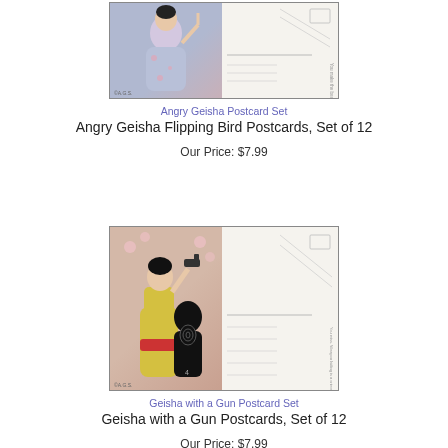[Figure (photo): Angry Geisha postcard set showing front (geisha in blue kimono flipping bird) and back of postcard]
Angry Geisha Postcard Set
Angry Geisha Flipping Bird Postcards, Set of 12
Our Price: $7.99
[Figure (photo): Geisha with a Gun postcard set showing front (geisha in yellow kimono holding gun with target silhouette) and back of postcard]
Geisha with a Gun Postcard Set
Geisha with a Gun Postcards, Set of 12
Our Price: $7.99